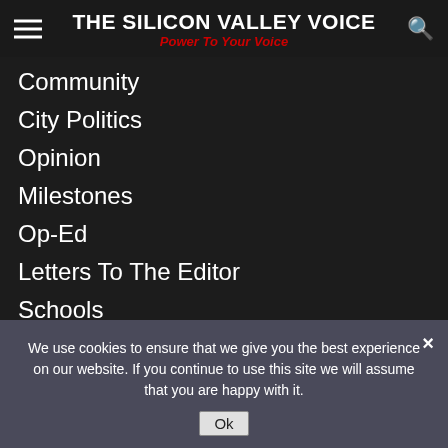THE SILICON VALLEY VOICE
Power To Your Voice
Community
City Politics
Opinion
Milestones
Op-Ed
Letters To The Editor
Schools
Public Safety
Arts & Entertainment
Sports
Business & Tech
Life Announcements
We use cookies to ensure that we give you the best experience on our website. If you continue to use this site we will assume that you are happy with it.